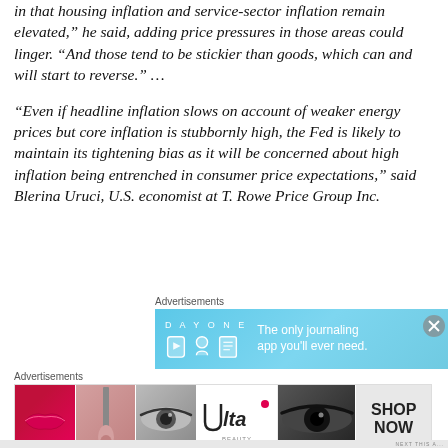in that housing inflation and service-sector inflation remain elevated,” he said, adding price pressures in those areas could linger. “And those tend to be stickier than goods, which can and will start to reverse.” …
“Even if headline inflation slows on account of weaker energy prices but core inflation is stubbornly high, the Fed is likely to maintain its tightening bias as it will be concerned about high inflation being entrenched in consumer price expectations,” said Blerina Uruci, U.S. economist at T. Rowe Price Group Inc.
[Figure (screenshot): Advertisement banner for Day One journaling app with light blue background showing app icons and text 'The only journaling app you’ll ever need.']
[Figure (screenshot): Advertisement banner for Ulta Beauty showing makeup/cosmetic images including lips, brush, eye, Ulta logo, and SHOP NOW button.]